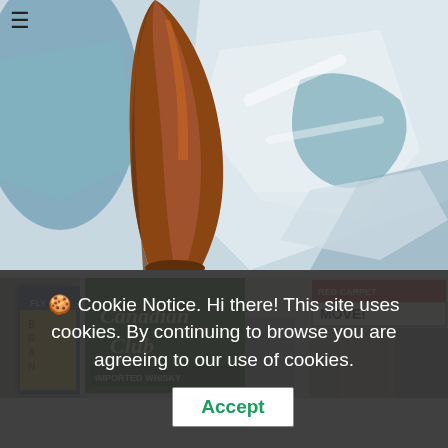[Figure (illustration): Close-up painting of a person's leg in brown/orange tones with teal and blue abstract background shapes, appearing to be a high-heel shoe detail]
[Figure (photo): Street scene photograph showing city buildings with advertisement signs including 'Canadian Club Imported Whisky', 'Fly Bran', 'Red Carpet Move!' billboards]
🍪 Cookie Notice. Hi there! This site uses cookies. By continuing to browse you are agreeing to our use of cookies. Accept